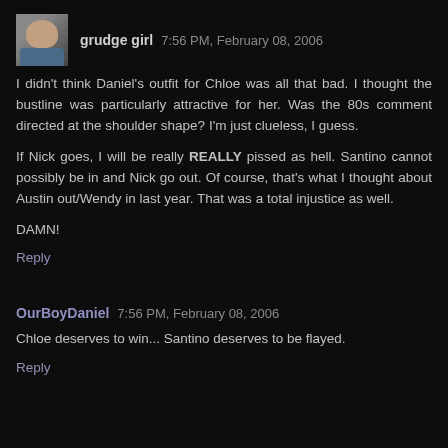grudge girl  7:56 PM, February 08, 2006
I didn't think Daniel's outfit for Chloe was all that bad. I thought the bustline was particularly attractive for her. Was the 80s comment directed at the shoulder shape? I'm just clueless, I guess.

If Nick goes, I will be really REALLY pissed as hell. Santino cannot possibly be in and Nick go out. Of course, that's what I thought about Austin out/Wendy in last year. That was a total injustice as well.

DAMN!
Reply
OurBoyDaniel  7:56 PM, February 08, 2006
Chloe deserves to win... Santino deserves to be flayed.
Reply